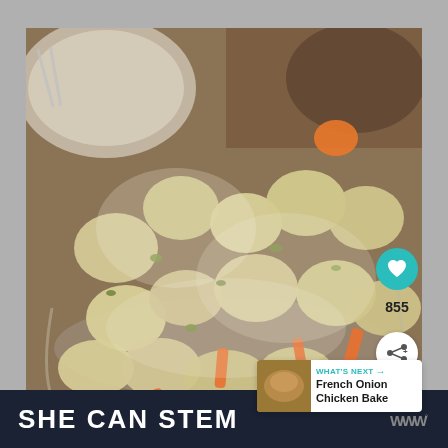[Figure (photo): Close-up photo of a potato salad with carrots, herbs, and creamy dressing in a glass bowl, with plates visible in the background. UI overlays include a teal heart/favorite button showing count 855, a share button, and a 'What's Next' card showing 'French Onion Chicken Bake'.]
SHE CAN STEM